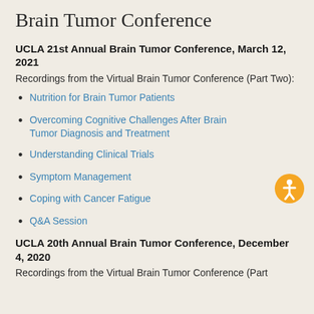Brain Tumor Conference
UCLA 21st Annual Brain Tumor Conference, March 12, 2021
Recordings from the Virtual Brain Tumor Conference (Part Two):
Nutrition for Brain Tumor Patients
Overcoming Cognitive Challenges After Brain Tumor Diagnosis and Treatment
Understanding Clinical Trials
Symptom Management
Coping with Cancer Fatigue
Q&A Session
UCLA 20th Annual Brain Tumor Conference, December 4, 2020
Recordings from the Virtual Brain Tumor Conference (Part